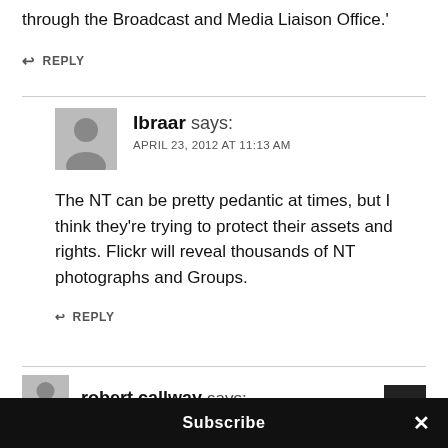through the Broadcast and Media Liaison Office.'
↩ REPLY
Ibraar says: APRIL 23, 2012 AT 11:13 AM
The NT can be pretty pedantic at times, but I think they're trying to protect their assets and rights. Flickr will reveal thousands of NT photographs and Groups.
↩ REPLY
robert callway says:
Subscribe